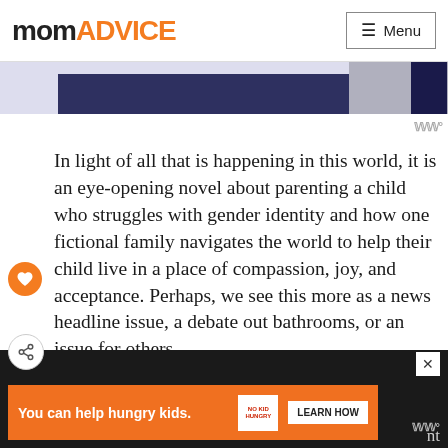momADVICE | Menu
[Figure (screenshot): Partial book cover image strip showing dark blue background]
In light of all that is happening in this world, it is an eye-opening novel about parenting a child who struggles with gender identity and how one fictional family navigates the world to help their child live in a place of compassion, joy, and acceptance. Perhaps, we see this more as a news headline issue, a debate out bathrooms, or an issue for others.
This book gives the reader the chance to slip into a family's life that mirrors your own and see what it would be like if that was your son or daughter.
[Figure (infographic): Advertisement banner: You can help hungry kids. No Kid Hungry. Learn How.]